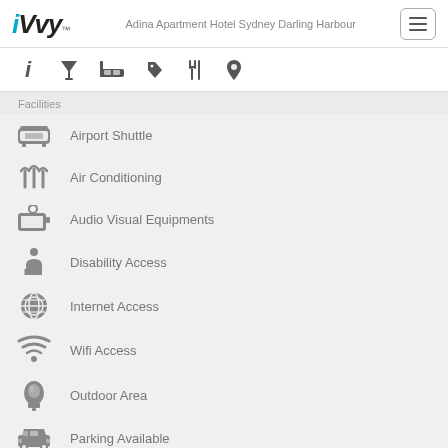iVvy — Adina Apartment Hotel Sydney Darling Harbour
Facilities
Airport Shuttle
Air Conditioning
Audio Visual Equipments
Disability Access
Internet Access
Wifi Access
Outdoor Area
Parking Available